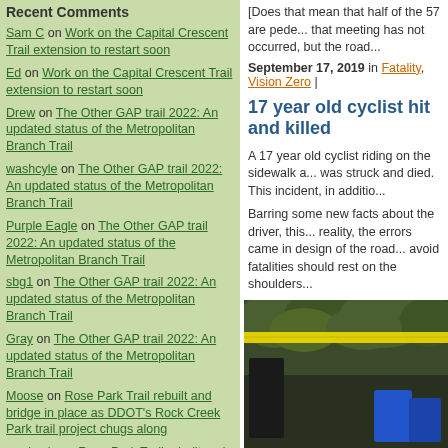Recent Comments
Sam C on Work on the Capital Crescent Trail extension to restart soon
Ed on Work on the Capital Crescent Trail extension to restart soon
Drew on The Other GAP trail 2022: An updated status of the Metropolitan Branch Trail
washcyle on The Other GAP trail 2022: An updated status of the Metropolitan Branch Trail
Purple Eagle on The Other GAP trail 2022: An updated status of the Metropolitan Branch Trail
sbg1 on The Other GAP trail 2022: An updated status of the Metropolitan Branch Trail
Gray on The Other GAP trail 2022: An updated status of the Metropolitan Branch Trail
Moose on Rose Park Trail rebuilt and bridge in place as DDOT's Rock Creek Park trail project chugs along
washcyle on Rose Park Trail rebuilt and bridge in place as DDOT's Rock Creek Park trail
[Does that mean that half of the 57 are pede... that meeting has not occurred, but the road...
September 17, 2019 in Fatality, Vision Zero |
17 year old cyclist hit and killed
A 17 year old cyclist riding on the sidewalk a... was struck and died. This incident, in additio...
Barring some new facts about the driver, this... reality, the errors came in design of the road... avoid fatalities should rest on the shoulders...
Old Georgetown Road is a 7-lane road with... further narrowed by no parking signs, foliage... obstacle of a driveway curb cut. [I believe th... angle and the no parking sign right there tog... SUV instead of a sedan (this is another choi...
[Figure (photo): Crime scene photo showing yellow police tape strung across a dark outdoor area with blue objects visible in the background]